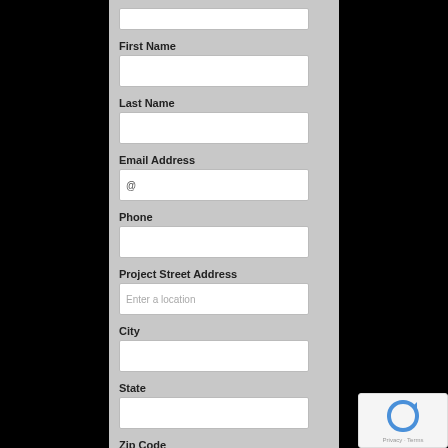First Name
Last Name
Email Address
Phone
Project Street Address
City
State
Zip Code
[Figure (screenshot): reCAPTCHA widget with privacy and terms links]